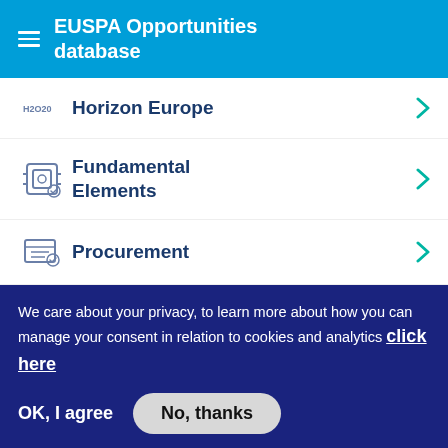EUSPA Opportunities database
Horizon Europe
Fundamental Elements
Procurement
Grants
We care about your privacy, to learn more about how you can manage your consent in relation to cookies and analytics click here
OK, I agree
No, thanks